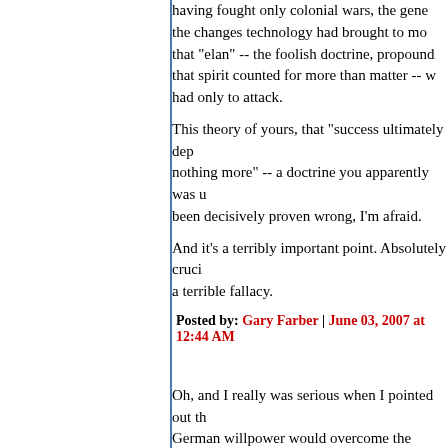having fought only colonial wars, the gen- the changes technology had brought to mo- that "elan" -- the foolish doctrine, propound- that spirit counted for more than matter -- w- had only to attack.
This theory of yours, that "success ultimately dep- nothing more" -- a doctrine you apparently was u- been decisively proven wrong, I'm afraid.
And it's a terribly important point. Absolutely cruci- a terrible fallacy.
Posted by: Gary Farber | June 03, 2007 at 12:44 AM
Oh, and I really was serious when I pointed out th- German willpower would overcome the subhuma-
Again: not a theory that worked out in practice.
Posted by: Gary Farber | June 03, 2007 at 12:45 AM
Oh, and I really was serious when I pointed out th- German willpower would overcome the subhuma-